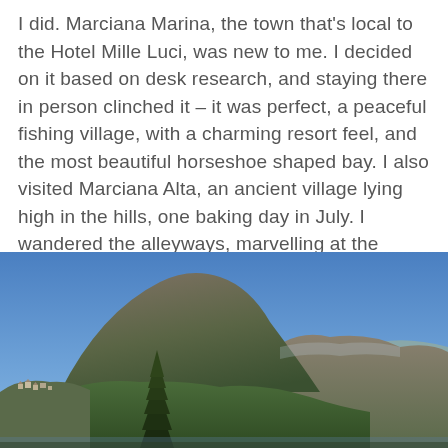I did. Marciana Marina, the town that's local to the Hotel Mille Luci, was new to me. I decided on it based on desk research, and staying there in person clinched it – it was perfect, a peaceful fishing village, with a charming resort feel, and the most beautiful horseshoe shaped bay. I also visited Marciana Alta, an ancient village lying high in the hills, one baking day in July. I wandered the alleyways, marvelling at the heights of Monte Capanne, cooling off with Limonata as I sat and worked beneath a parasol.
[Figure (photo): A landscape photograph showing a large mountain peak under a clear blue sky, with green forested slopes, a tall dark pine tree in the foreground, and what appears to be a small town or village visible at the lower left base of the mountain.]